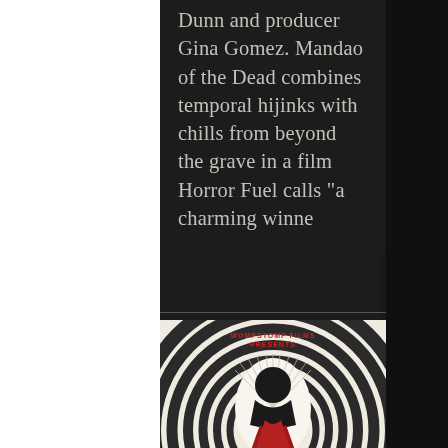Dunn and producer Gina Gomez. Mandao of the Dead combines temporal hijinks with chills from beyond the grave in a film Horror Fuel calls "a charming winne
[Figure (illustration): Movie poster for 'Mandao of the Dead' by Wompstomp Films. Dark graphic illustration showing a silhouetted figure draped in red against concentric dark circles, with a bright white light source at the top center and radiating lines, on a cream/aged paper background. Text reads 'WOMPSTOMP FILMS PRESENTS' in red at the top.]